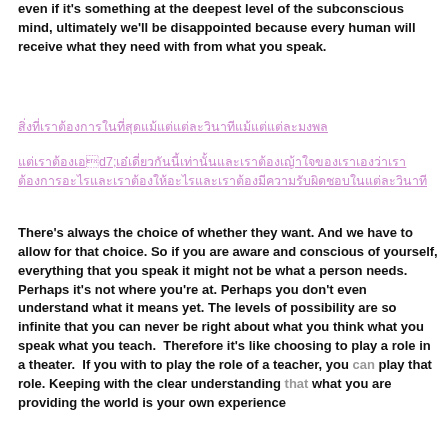even if it's something at the deepest level of the subconscious mind, ultimately we'll be disappointed because every human will receive what they need with from what you speak.
[Thai text line 1 - underlined purple]
[Thai text lines 2-3 - underlined purple]
There's always the choice of whether they want. And we have to allow for that choice. So if you are aware and conscious of yourself, everything that you speak it might not be what a person needs. Perhaps it's not where you're at. Perhaps you don't even understand what it means yet. The levels of possibility are so infinite that you can never be right about what you think what you speak what you teach.  Therefore it's like choosing to play a role in a theater.  If you with to play the role of a teacher, you can play that role. Keeping with the clear understanding that what you are providing the world is your own experience